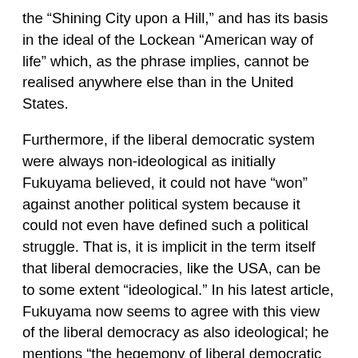the “Shining City upon a Hill,” and has its basis in the ideal of the Lockean “American way of life” which, as the phrase implies, cannot be realised anywhere else than in the United States.
Furthermore, if the liberal democratic system were always non-ideological as initially Fukuyama believed, it could not have “won” against another political system because it could not even have defined such a political struggle. That is, it is implicit in the term itself that liberal democracies, like the USA, can be to some extent “ideological.” In his latest article, Fukuyama now seems to agree with this view of the liberal democracy as also ideological; he mentions “the hegemony of liberal democratic ideology”, apparently in contrast with his earlier position. After having hailed the non-ideological nature of Western society in “The End of History,” he now calls for the emergence of a new ideology that will propose new solutions to the problems that he has identified. Unfortunately, this new-found belief in an ideology of the liberal democracy now leads him to focus on the question of “how?” (i.e. which means?), instead of the arguably more fundamental question of “what?” (i.e. which problems?) to